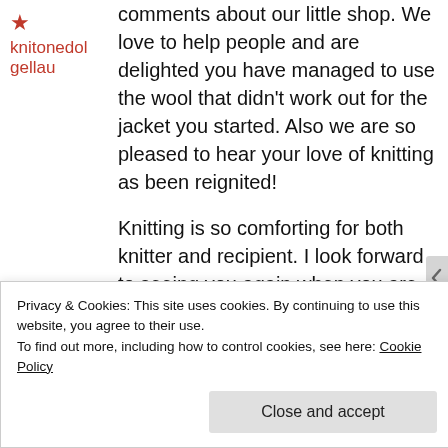knitonedolgellau
comments about our little shop. We love to help people and are delighted you have managed to use the wool that didn't work out for the jacket you started. Also we are so pleased to hear your love of knitting as been reignited!
Knitting is so comforting for both knitter and recipient. I look forward to seeing you again when you are next in Barmouth. Sorry I took so long to respond – my internet connection
Privacy & Cookies: This site uses cookies. By continuing to use this website, you agree to their use.
To find out more, including how to control cookies, see here: Cookie Policy